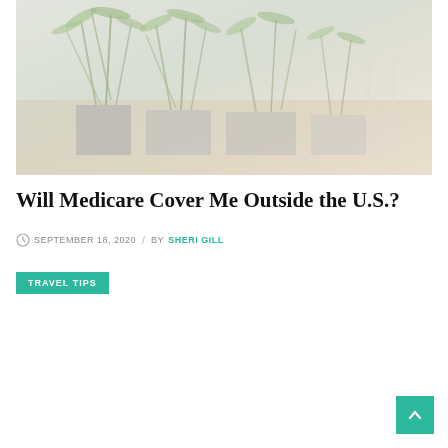[Figure (photo): Interior photo of an office or lobby space with tall green tropical plants in modern rectangular planters, wooden flooring visible in the background, and natural light. Image is slightly faded/washed out.]
Will Medicare Cover Me Outside the U.S.?
SEPTEMBER 18, 2020 / BY SHERI GILL
TRAVEL TIPS